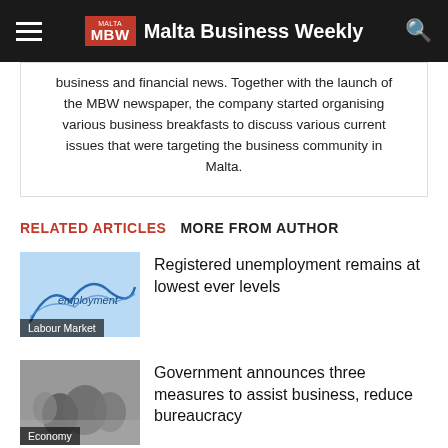Malta Business Weekly
business and financial news. Together with the launch of the MBW newspaper, the company started organising various business breakfasts to discuss various current issues that were targeting the business community in Malta.
RELATED ARTICLES   MORE FROM AUTHOR
Labour Market
Registered unemployment remains at lowest ever levels
Economy
Government announces three measures to assist business, reduce bureaucracy